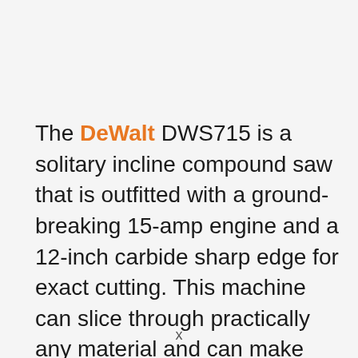The DeWalt DWS715 is a solitary incline compound saw that is outfitted with a ground-breaking 15-amp engine and a 12-inch carbide sharp edge for exact cutting. This machine can slice through practically any material and can make quick and exact cuts extending from crosscutting, cutting encircling, or trim, just as miter-
x